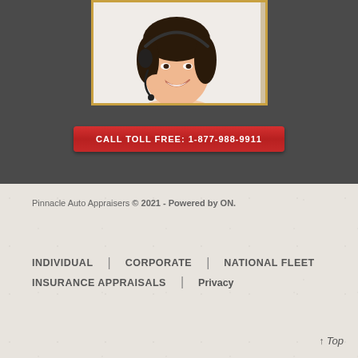[Figure (photo): Customer service representative wearing a headset, smiling, in a white shirt, cropped to show face and upper body, with a gold border frame]
CALL TOLL FREE: 1-877-988-9911
Pinnacle Auto Appraisers © 2021 - Powered by ON.
INDIVIDUAL
CORPORATE
NATIONAL FLEET
INSURANCE APPRAISALS
Privacy
↑ Top